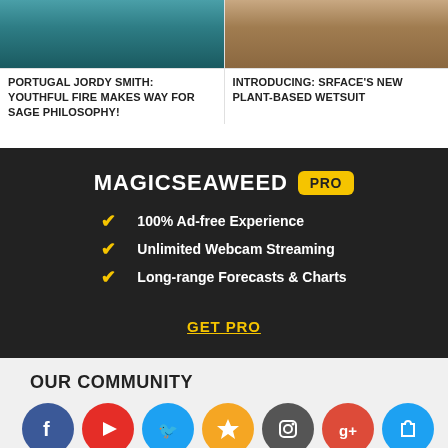[Figure (photo): Surfer riding a wave in Portugal - Jordy Smith article thumbnail]
[Figure (photo): Person carrying a surfboard on a beach - Srface wetsuit article thumbnail]
PORTUGAL JORDY SMITH: YOUTHFUL FIRE MAKES WAY FOR SAGE PHILOSOPHY!
INTRODUCING: SRFACE'S NEW PLANT-BASED WETSUIT
[Figure (infographic): MagicSeaweed PRO promotional banner with features: 100% Ad-free Experience, Unlimited Webcam Streaming, Long-range Forecasts & Charts and GET PRO link]
OUR COMMUNITY
[Figure (infographic): Row of social media icons: Facebook, YouTube, Twitter, Star/Favorites, Instagram, Google+, Shopping]